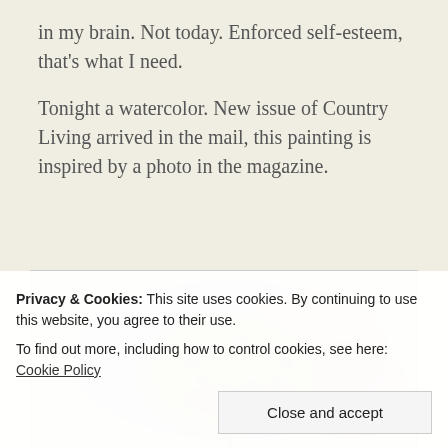in my brain. Not today. Enforced self-esteem, that's what I need.
Tonight a watercolor. New issue of Country Living arrived in the mail, this painting is inspired by a photo in the magazine.
[Figure (photo): A watercolor painting of hydrangea flowers on a textured pinkish-beige background, showing soft yellow-green and blue-purple flower clusters.]
Privacy & Cookies: This site uses cookies. By continuing to use this website, you agree to their use.
To find out more, including how to control cookies, see here: Cookie Policy
Close and accept